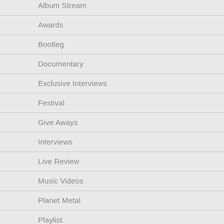Album Stream
Awards
Bootleg
Documentary
Exclusive Interviews
Festival
Give Aways
Interviews
Live Review
Music Videos
Planet Metal
Playlist